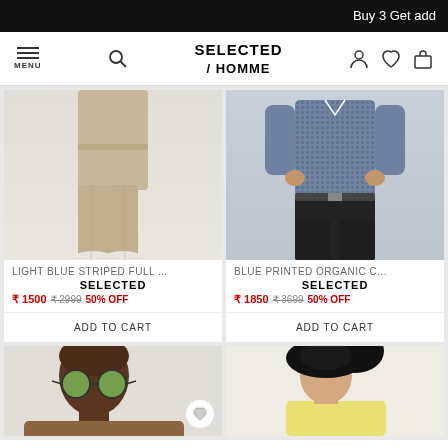Buy 3 Get add
[Figure (logo): Selected Homme logo with hamburger menu, search icon, user icon, wishlist icon, and cart icon]
[Figure (photo): Man wearing khaki/beige slim-fit trousers with white sneakers on grey background]
LIGHT BLUE STRIPED FULL ...
SELECTED
₹1500 ₹2999 50% OFF
ADD TO CART
[Figure (photo): Man wearing blue printed organic cotton shirt with black trousers and belt on grey background]
BLUE PRINTED ORGANIC C...
SELECTED
₹1850 ₹3699 50% OFF
ADD TO CART
[Figure (photo): Man wearing sunglasses with green lenses, partial view from bottom row]
[Figure (photo): Person wearing black hat/beret and light yellow top, partial view from bottom row]